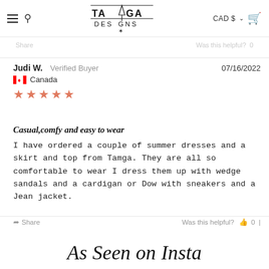TAMGA DESIGNS — CAD $
Share   Was this helpful?  0
Judi W.  Verified Buyer   07/16/2022
Canada
★★★★★
Casual,comfy and easy to wear
I have ordered a couple of summer dresses and a skirt and top from Tamga. They are all so comfortable to wear I dress them up with wedge sandals and a cardigan or Dow with sneakers and a Jean jacket.
Share   Was this helpful?  0
As Seen on Insta